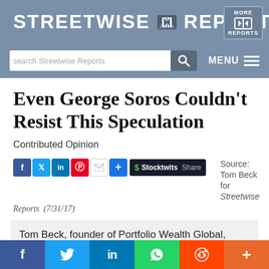Streetwise Reports
Even George Soros Couldn't Resist This Speculation
Contributed Opinion
Source: Tom Beck for Streetwise Reports (7/31/17)
Tom Beck, founder of Portfolio Wealth Global, delves into the investment